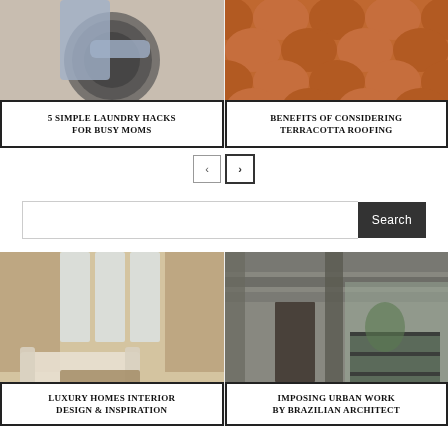[Figure (photo): Person loading laundry into a washing machine]
5 SIMPLE LAUNDRY HACKS FOR BUSY MOMS
[Figure (photo): Close-up of terracotta roof tiles]
BENEFITS OF CONSIDERING TERRACOTTA ROOFING
[Figure (photo): Luxury home interior with brick walls and large windows]
LUXURY HOMES INTERIOR DESIGN & INSPIRATION
[Figure (photo): Modern urban concrete architecture interior]
IMPOSING URBAN WORK BY BRAZILIAN ARCHITECT